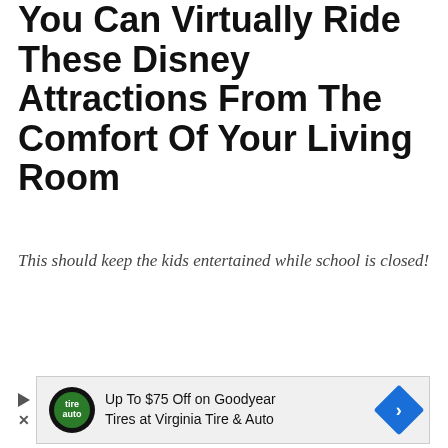You Can Virtually Ride These Disney Attractions From The Comfort Of Your Living Room
This should keep the kids entertained while school is closed!
March 19, 2020 by Marie Rossiter
For the first time since Walt Disney debuted Disneyland in 1955, not a single Disney theme park is open for business. All Disney theme
[Figure (other): Advertisement banner: Up To $75 Off on Goodyear Tires at Virginia Tire & Auto, with Goodyear logo and navigation arrow icon]